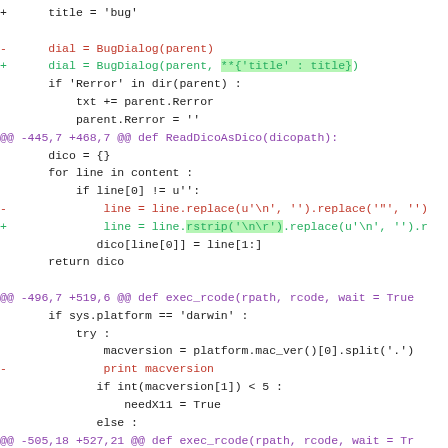[Figure (screenshot): A git diff screenshot showing code changes in Python source files. Lines prefixed with '-' are removed (red), '+' are added (green), '@@' lines are hunk headers (purple), and context lines are black. Two highlighted lines in green background show specific additions with **{'title': title} and rstrip changes.]